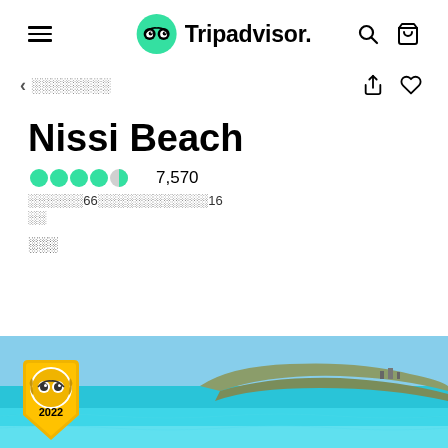Tripadvisor
◁ ░░░░░░░░
Nissi Beach
●●●●◐ 7,570
░░░░░░66░░░░░░░░░░░░16
░░
░░░
[Figure (photo): Beach photo showing turquoise sea water with island/peninsula landmass in background, with Tripadvisor 2022 award badge in bottom left corner]